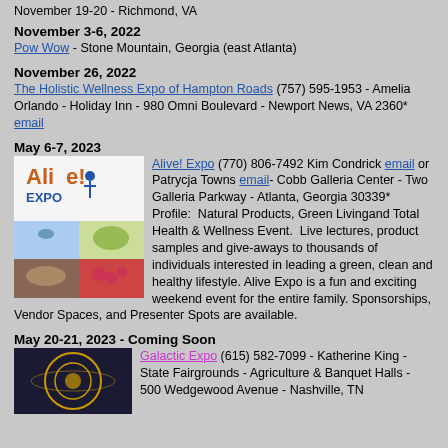November 19-20 - Richmond, VA
November 3-6, 2022
Pow Wow - Stone Mountain, Georgia (east Atlanta)
November 26, 2022
The Holistic Wellness Expo of Hampton Roads (757) 595-1953 - Amelia Orlando - Holiday Inn - 980 Omni Boulevard - Newport News, VA 2360* email
May 6-7, 2023
Alive! Expo (770) 806-7492 Kim Condrick email or Patrycja Towns email- Cobb Galleria Center - Two Galleria Parkway - Atlanta, Georgia 30339* Profile: Natural Products, Green Livingand Total Health & Wellness Event. Live lectures, product samples and give-aways to thousands of individuals interested in leading a green, clean and healthy lifestyle. Alive Expo is a fun and exciting weekend event for the entire family. Sponsorships, Vendor Spaces, and Presenter Spots are available.
May 20-21, 2023 - Coming Soon
Galactic Expo (615) 582-7099 - Katherine King - State Fairgrounds - Agriculture & Banquet Halls - 500 Wedgewood Avenue - Nashville, TN